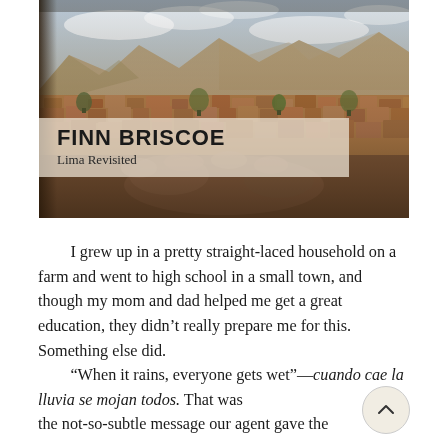[Figure (photo): Aerial/elevated view of a dense Latin American city (Lima/Cusco area) with terracotta rooftops, trees, and mountains in the background under a partly cloudy sky. A hand is visible in the lower portion of the image. The photo has a warm, slightly hazy tone.]
FINN BRISCOE
Lima Revisited
I grew up in a pretty straight-laced household on a farm and went to high school in a small town, and though my mom and dad helped me get a great education, they didn't really prepare me for this. Something else did.
“When it rains, everyone gets wet”—cuando cae la lluvia se mojan todos. That was the not-so-subtle message our agent gave the